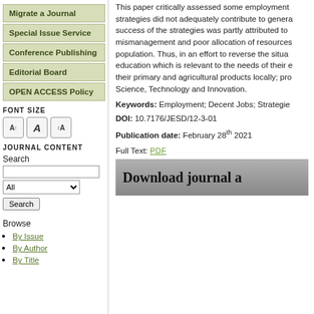Migrate a Journal
Special Issue Service
Conference Publishing
Editorial Board
OPEN ACCESS Policy
FONT SIZE
JOURNAL CONTENT
Search
Browse
By Issue
By Author
By Title
This paper critically assessed some employment strategies did not adequately contribute to genera success of the strategies was partly attributed to mismanagement and poor allocation of resources population. Thus, in an effort to reverse the situa education which is relevant to the needs of their e their primary and agricultural products locally; pro Science, Technology and Innovation.
Keywords: Employment; Decent Jobs; Strategie
DOI: 10.7176/JESD/12-3-01
Publication date: February 28th 2021
Full Text: PDF
[Figure (other): Download journal banner with grey gradient background]